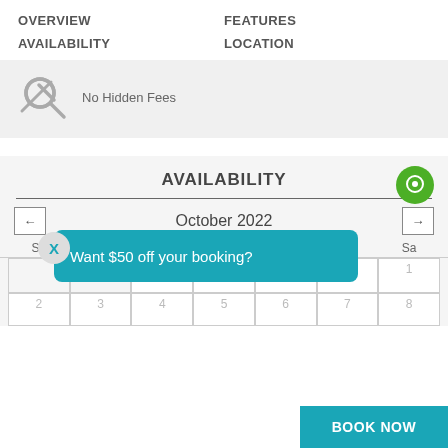OVERVIEW   FEATURES
AVAILABILITY   LOCATION
[Figure (illustration): Magnifying glass icon with a dollar sign crossed out, representing No Hidden Fees]
No Hidden Fees
AVAILABILITY
October 2022
[Figure (other): Calendar grid showing October 2022 with navigation arrows, day headers Su Mo Tu We Th Fr Sa, and dates 1 through 8 visible]
Want $50 off your booking?
BOOK NOW